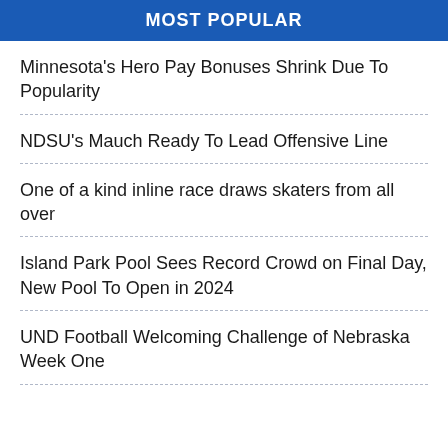MOST POPULAR
Minnesota's Hero Pay Bonuses Shrink Due To Popularity
NDSU's Mauch Ready To Lead Offensive Line
One of a kind inline race draws skaters from all over
Island Park Pool Sees Record Crowd on Final Day, New Pool To Open in 2024
UND Football Welcoming Challenge of Nebraska Week One